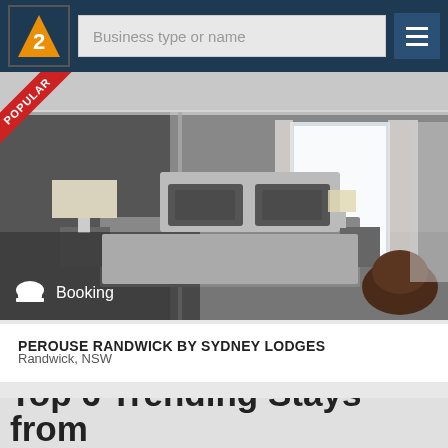[Figure (screenshot): Navigation bar with logo (orange Z icon on dark blue), search field with placeholder 'Business type or name', and hamburger menu button]
[Figure (photo): Hotel bedroom photo showing a modern room with grey walls, white bedding with dark cushions, bedside lamps, framed artwork, white curtains, and a brown leather egg chair. A 'POPULAR' red ribbon is in the top left corner. A 'Booking' label with a bell icon is in the bottom left.]
PEROUSE RANDWICK BY SYDNEY LODGES
Randwick, NSW
Top 6 Trending Stays from